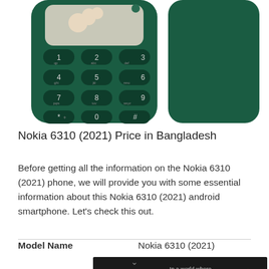[Figure (photo): Nokia 6310 (2021) phone shown from front (keypad visible, dark green color) and back side, both against white background.]
Nokia 6310 (2021) Price in Bangladesh
Before getting all the information on the Nokia 6310 (2021) phone, we will provide you with some essential information about this Nokia 6310 (2021) android smartphone. Let’s check this out.
| Model Name | Nokia 6310 (2021) |
| --- | --- |
[Figure (screenshot): Advertisement banner for Pure Earth: 'We believe the global pollution crisis can be solved.' with text about global pollution not stopping at borders and a JOIN US call to action, alongside the Pure Earth logo.]